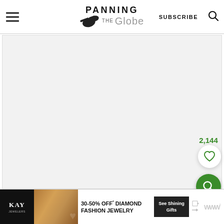Panning The Globe — SUBSCRIBE
[Figure (screenshot): Large white/light gray blank content area below the header, representing a partially loaded or empty article body]
2,144
[Figure (illustration): Heart icon button (favorite/save) in a white circular button with drop shadow]
[Figure (illustration): Magnifying glass search icon in a green circular FAB button]
[Figure (advertisement): Kay Jewelers ad banner: KAY JEWELERS logo on black, couple photo, 30-50% OFF* DIAMOND FASHION JEWELRY, See Shining Gifts CTA button, WW logo]